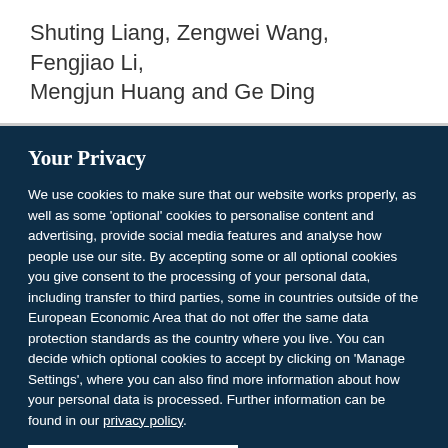Shuting Liang, Zengwei Wang, Fengjiao Li, Mengjun Huang and Ge Ding
Your Privacy
We use cookies to make sure that our website works properly, as well as some 'optional' cookies to personalise content and advertising, provide social media features and analyse how people use our site. By accepting some or all optional cookies you give consent to the processing of your personal data, including transfer to third parties, some in countries outside of the European Economic Area that do not offer the same data protection standards as the country where you live. You can decide which optional cookies to accept by clicking on 'Manage Settings', where you can also find more information about how your personal data is processed. Further information can be found in our privacy policy.
Accept all cookies
Manage preferences